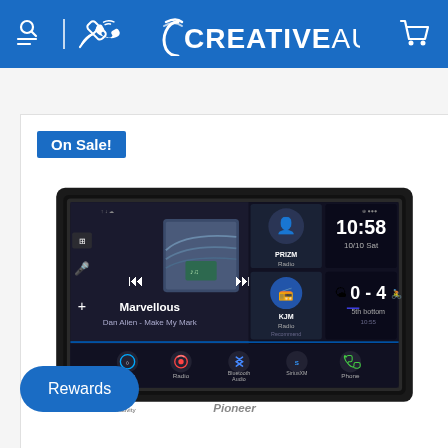CREATIVEAUDIO
On Sale!
[Figure (photo): Pioneer car stereo/head unit with large touchscreen display showing music player (Marvellous by Dan Alien - Make My Mark), radio widgets (PRIZM Radio, KJM Radio), clock showing 10:58 10/10 Sat, sports score 0-4 5th bottom, and bottom bar with Alexa, Radio, Bluetooth Audio, SiriusXM, Phone icons. Pioneer branding visible at bottom.]
Rewards